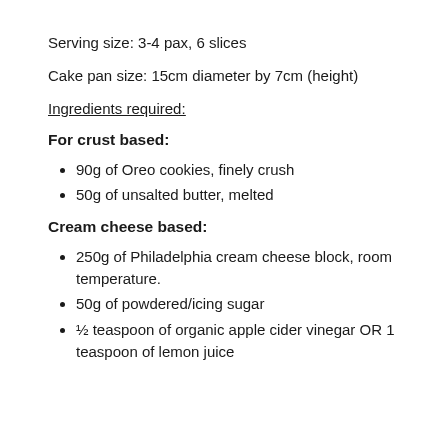Serving size: 3-4 pax, 6 slices
Cake pan size: 15cm diameter by 7cm (height)
Ingredients required:
For crust based:
90g of Oreo cookies, finely crush
50g of unsalted butter, melted
Cream cheese based:
250g of Philadelphia cream cheese block, room temperature.
50g of powdered/icing sugar
½ teaspoon of organic apple cider vinegar OR 1 teaspoon of lemon juice